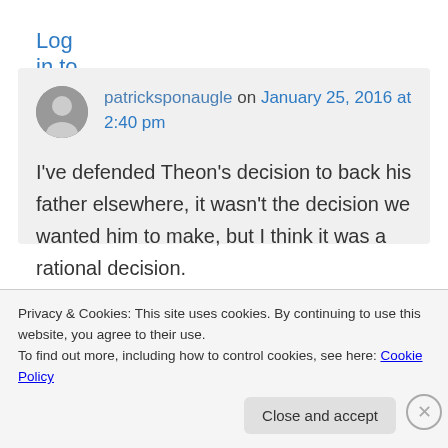Log in to Reply
patricksponaugle on January 25, 2016 at 2:40 pm
I've defended Theon's decision to back his father elsewhere, it wasn't the decision we wanted him to make, but I think it was a rational decision.

Good call on the comparisons between
Privacy & Cookies: This site uses cookies. By continuing to use this website, you agree to their use.
To find out more, including how to control cookies, see here: Cookie Policy
Close and accept